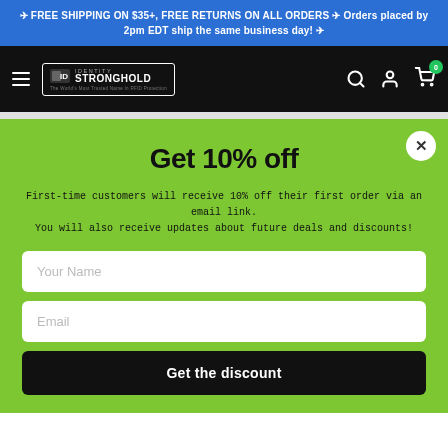✈ FREE SHIPPING ON $35+, FREE RETURNS ON ALL ORDERS ✈ Orders placed by 2pm EDT ship the same business day! ✈
[Figure (logo): Identity Stronghold logo - white text on black nav bar, with hamburger menu, search, user, and cart icons]
Get 10% off
First-time customers will receive 10% off their first order via an email link. You will also receive updates about future deals and discounts!
Your Name
Email
Get the discount